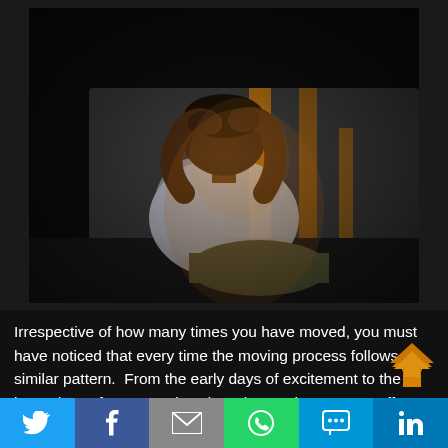[Figure (photo): Person sitting on floor against a couch in a dark room, head in hands, appearing stressed or anxious, with warm orange/amber lighting]
Irrespective of how many times you have moved, you must have noticed that every time the moving process follows a similar pattern.  From the early days of excitement to the latter days of stress and anxiety, the moving process offers
[Figure (illustration): Orange upward double-arrow scroll-to-top button]
Social share bar with Twitter, Facebook, Email, WhatsApp, SMS, LinkedIn buttons